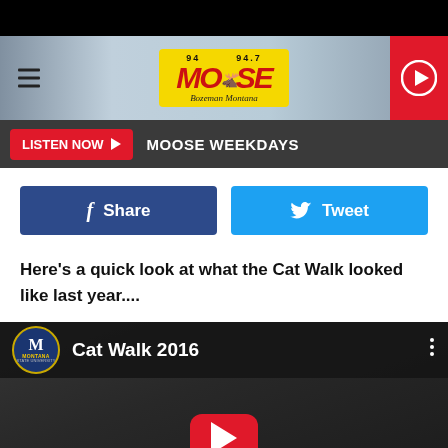[Figure (screenshot): Radio station website header with 94.7 Moose FM logo (yellow background, red text), hamburger menu icon on left, red play button on right]
LISTEN NOW  MOOSE WEEKDAYS
[Figure (infographic): Facebook Share button (dark blue) and Twitter Tweet button (light blue) side by side]
Here's a quick look at what the Cat Walk looked like last year....
[Figure (screenshot): YouTube video embed thumbnail showing Cat Walk 2016, with Montana State University logo circle, video title, and YouTube play button overlay on dark crowd background]